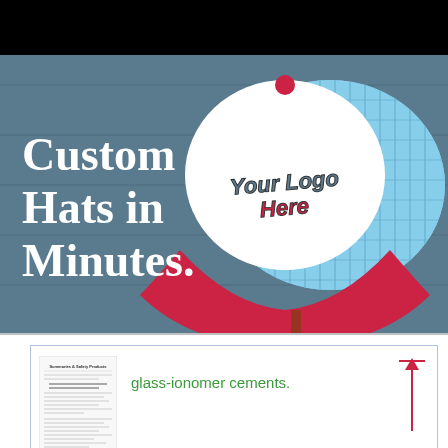[Figure (photo): Black bar at top of page]
[Figure (photo): Advertisement photo showing a trucker hat with red brim, white front panel, and light blue mesh back hanging on a blue wooden wall. The hat has 'Your Logo Here' text on the front panel. Large white bold serif text on the left reads 'Custom Hats in Minutes.']
[Figure (other): Small thumbnail image of a document with text, partially visible]
glass-ionomer cements.
[Figure (other): Upward-pointing red arrow on the right side of the bottom section]